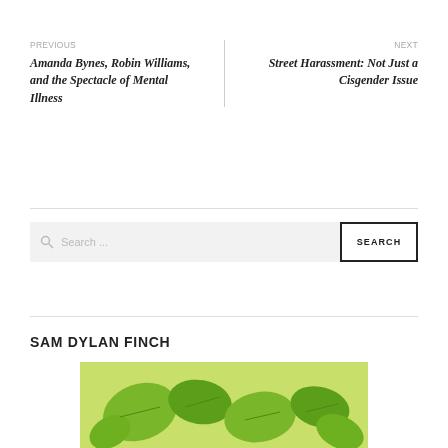PREVIOUS
Amanda Bynes, Robin Williams, and the Spectacle of Mental Illness
NEXT
Street Harassment: Not Just a Cisgender Issue
Search ...
SAM DYLAN FINCH
[Figure (illustration): Partial illustration with green leaf/floral motif at bottom of page]